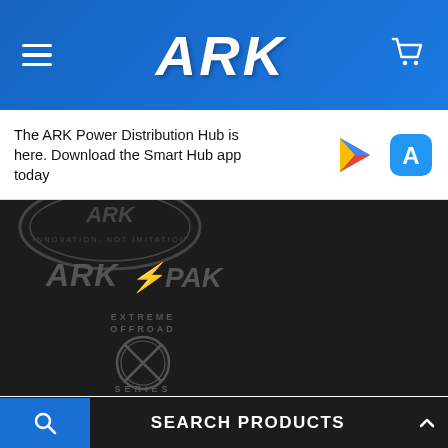ARK
The ARK Power Distribution Hub is here. Download the Smart Hub app today
[Figure (logo): ARK Innovation Not Imitation badge watermark in dark background]
[Figure (logo): ARKPAK logo in grey on dark background]
[Figure (logo): Extreme Offroad X Series logo in grey on dark background]
PRODUCT RANGE
Towing Gear
SEARCH PRODUCTS